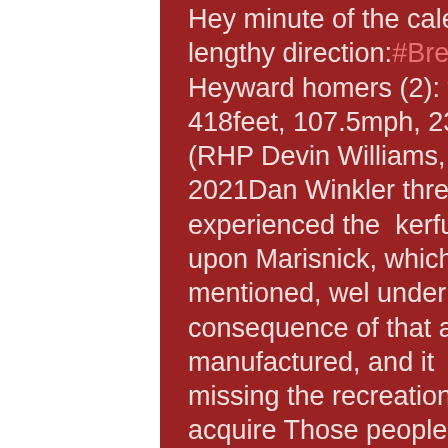Hey minute of the calendar year, on Devin Williams, went a lengthy direction:#Brewers 4 @ #Cubs 3 [B8-2o]:Jason Heyward homers (2): fly ball in direction of CF (solo)Strike: 418feet, 107.5mph, 23°  Pitch: 95.1mph 4-Seam Fastball (RHP Devin Williams, 3)Dwelling Work Tracker  April 24, 2021Dan Winkler threw a scoreless 9th, then we experienced the  kerfuffle around the undesirable get hold of upon Marisnick, which is wherever  we arrived inside.As I mentioned, wel under no circumstances notice the long run  consequence of that at-bat if the straight get hold of was manufactured, and it  sure not the rationale the Cubs missing the recreation.However truly, it season  towards acquire Those people phone calls instantly Ron Cey Face Mask.At this time I moving towards shift upon a little bit of a rant, thus  come to feel free of charge in the direction of miss above this if the recent  Pretty, Pretty gradual speed of MLB game titles doesn hassle by